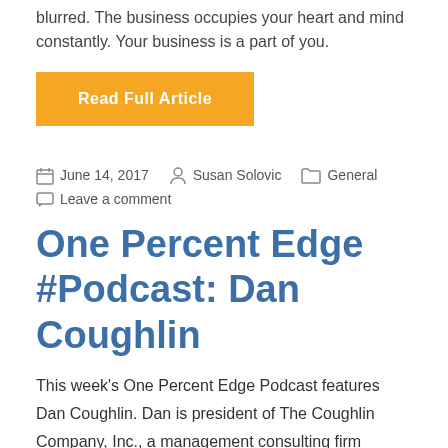blurred. The business occupies your heart and mind constantly. Your business is a part of you.
Read Full Article
June 14, 2017  Susan Solovic  General  Leave a comment
One Percent Edge #Podcast: Dan Coughlin
This week's One Percent Edge Podcast features Dan Coughlin. Dan is president of The Coughlin Company, Inc., a management consulting firm focused on improving executive effectiveness and significance. He serves as a thinking partner for executives and business owners toward